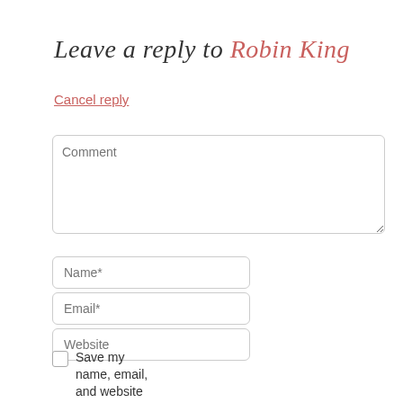Leave a reply to Robin King
Cancel reply
Comment
Name*
Email*
Website
Save my name, email, and website in this browser for